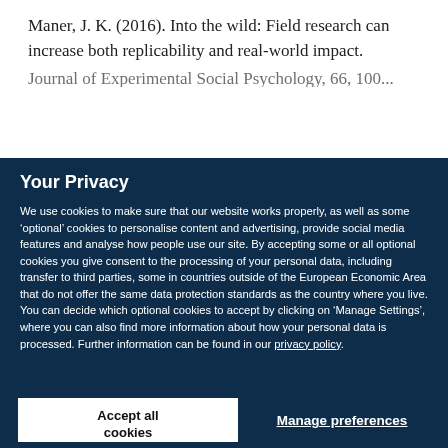Maner, J. K. (2016). Into the wild: Field research can increase both replicability and real-world impact.
Journal of Experimental Social Psychology, 66, 100...
Your Privacy
We use cookies to make sure that our website works properly, as well as some 'optional' cookies to personalise content and advertising, provide social media features and analyse how people use our site. By accepting some or all optional cookies you give consent to the processing of your personal data, including transfer to third parties, some in countries outside of the European Economic Area that do not offer the same data protection standards as the country where you live. You can decide which optional cookies to accept by clicking on 'Manage Settings', where you can also find more information about how your personal data is processed. Further information can be found in our privacy policy.
Accept all cookies
Manage preferences